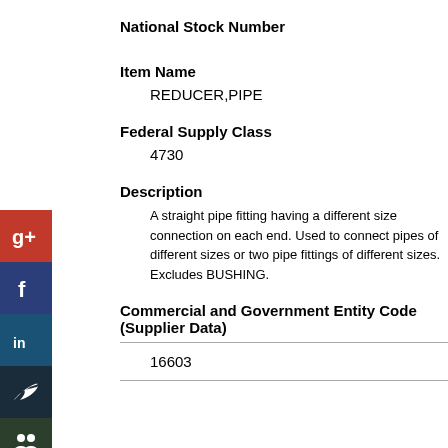National Stock Number
Item Name
REDUCER,PIPE
Federal Supply Class
4730
Description
A straight pipe fitting having a different size connection on each end. Used to connect pipes of different sizes or two pipe fittings of different sizes. Excludes BUSHING.
Commercial and Government Entity Code (Supplier Data)
16603